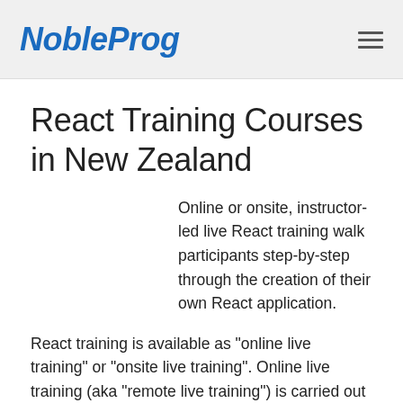NobleProg
React Training Courses in New Zealand
Online or onsite, instructor-led live React training walk participants step-by-step through the creation of their own React application.
React training is available as "online live training" or "onsite live training". Online live training (aka "remote live training") is carried out by way of an interactive, remote desktop. Onsite live React trainings in New Zealand can be carried out locally on customer premises or in